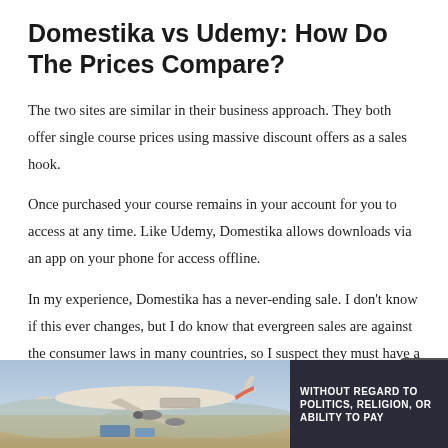Domestika vs Udemy: How Do The Prices Compare?
The two sites are similar in their business approach. They both offer single course prices using massive discount offers as a sales hook.
Once purchased your course remains in your account for you to access at any time. Like Udemy, Domestika allows downloads via an app on your phone for access offline.
In my experience, Domestika has a never-ending sale. I don't know if this ever changes, but I do know that evergreen sales are against the consumer laws in many countries, so I suspect they must have a time when they charge full price. I personally
[Figure (photo): Advertisement banner showing a cargo airplane being loaded, with text 'WITHOUT REGARD TO POLITICS, RELIGION, OR ABILITY TO PAY']